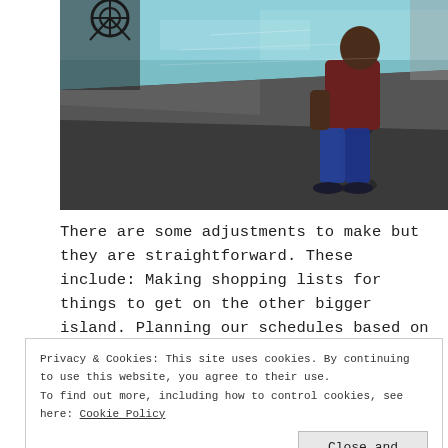[Figure (photo): A person sitting on a bollard or post at a waterfront, viewed from behind/side. Blue-green water visible in background. Dark concrete dock/pier in foreground. A bicycle is partially visible at top left.]
There are some adjustments to make but they are straightforward. These include: Making shopping lists for things to get on the other bigger island. Planning our schedules based on the ferry timings. Checking
Privacy & Cookies: This site uses cookies. By continuing to use this website, you agree to their use.
To find out more, including how to control cookies, see here: Cookie Policy
Close and accept